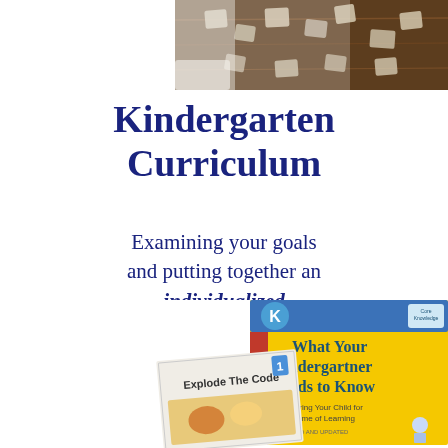[Figure (photo): Jigsaw puzzle pieces on a dark wooden table, viewed from above]
Kindergarten Curriculum
Examining your goals and putting together an individualized homeschool curriculum
[Figure (photo): Two books: 'What Your Kindergartner Needs to Know' (yellow cover) and 'Explode The Code 1' (white cover with illustration)]